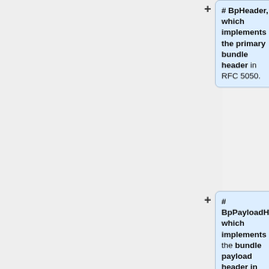# BpHeader, which implements the primary bundle header in RFC 5050.
# BpPayloadHeader, which implements the bundle payload header in RFC 5050.
= Bundle protocol APIs =
Bundle protocol APIs are called by applications.